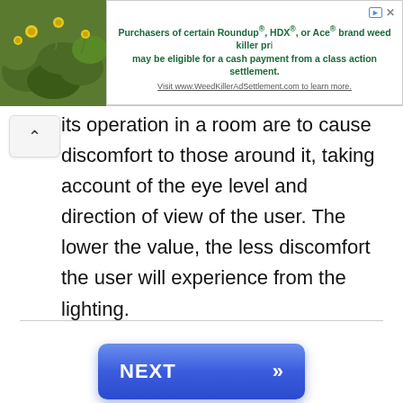[Figure (other): Advertisement banner with image of green plants with yellow flowers on left, and text about Roundup/HDX/Ace brand weed killer class action settlement on right]
its operation in a room are to cause discomfort to those around it, taking account of the eye level and direction of view of the user. The lower the value, the less discomfort the user will experience from the lighting.
[Figure (other): NEXT button with double right arrow, blue gradient background]